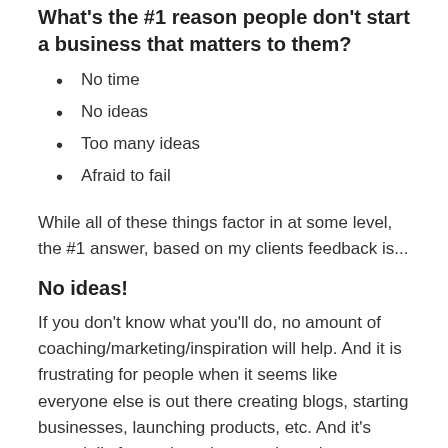What's the #1 reason people don't start a business that matters to them?
No time
No ideas
Too many ideas
Afraid to fail
While all of these things factor in at some level, the #1 answer, based on my clients feedback is...
No ideas!
If you don't know what you'll do, no amount of coaching/marketing/inspiration will help. And it is frustrating for people when it seems like everyone else is out there creating blogs, starting businesses, launching products, etc. And it's especially frustrating when you hear that someone is leaving their corporate job to pursue their passion full time and you wonder what that means...